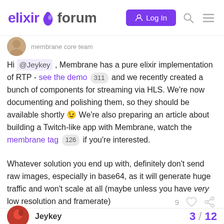elixir forum — Log In
Membrane Core Team
Hi @Jeykey , Membrane has a pure elixir implementation of RTP - see the demo 311 and we recently created a bunch of components for streaming via HLS. We're now documenting and polishing them, so they should be available shortly 😉 We're also preparing an article about building a Twitch-like app with Membrane, watch the membrane tag 126 if you're interested.
Whatever solution you end up with, definitely don't send raw images, especially in base64, as it will generate huge traffic and won't scale at all (maybe unless you have very low resolution and framerate)
9
Jeykey
3 / 12